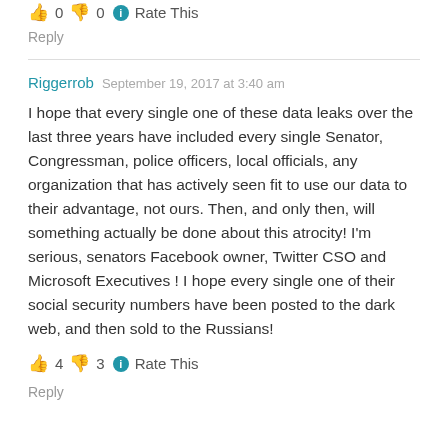👍 0 👎 0 ℹ Rate This
Reply
Riggerrob   September 19, 2017 at 3:40 am
I hope that every single one of these data leaks over the last three years have included every single Senator, Congressman, police officers, local officials, any organization that has actively seen fit to use our data to their advantage, not ours. Then, and only then, will something actually be done about this atrocity! I'm serious, senators Facebook owner, Twitter CSO and Microsoft Executives ! I hope every single one of their social security numbers have been posted to the dark web, and then sold to the Russians!
👍 4 👎 3 ℹ Rate This
Reply